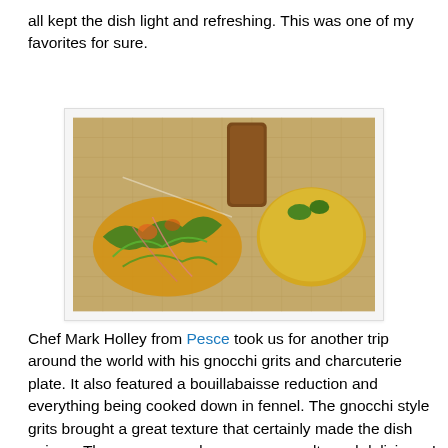all kept the dish light and refreshing.  This was one of my favorites for sure.
[Figure (photo): A plated dish on a burlap surface showing gnocchi grits and charcuterie with greens, microgreens, and fried plantains or similar golden items.]
Chef Mark Holley from Pesce took us for another trip around the world with his gnocchi grits and charcuterie plate.  It also featured a bouillabaisse reduction and everything being cooked down in fennel.  The gnocchi style grits brought a great texture that certainly made the dish unique.  The sausage and greens were salty and delicious.  I found that everything on the plate had a consistent salty flavor.  While it